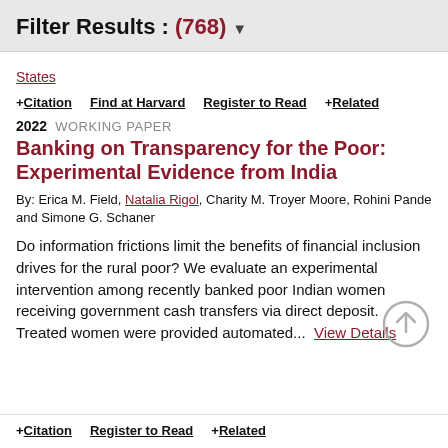Filter Results : (768)
States
+ Citation   Find at Harvard   Register to Read   + Related
2022  WORKING PAPER
Banking on Transparency for the Poor: Experimental Evidence from India
By: Erica M. Field, Natalia Rigol, Charity M. Troyer Moore, Rohini Pande and Simone G. Schaner
Do information frictions limit the benefits of financial inclusion drives for the rural poor? We evaluate an experimental intervention among recently banked poor Indian women receiving government cash transfers via direct deposit. Treated women were provided automated...  View Details
+ Citation   Register to Read   + Related